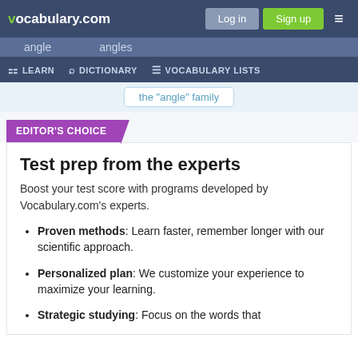vocabulary.com — Log in | Sign up
angle   angles
LEARN   DICTIONARY   VOCABULARY LISTS
the "angle" family
EDITOR'S CHOICE
Test prep from the experts
Boost your test score with programs developed by Vocabulary.com's experts.
Proven methods: Learn faster, remember longer with our scientific approach.
Personalized plan: We customize your experience to maximize your learning.
Strategic studying: Focus on the words that